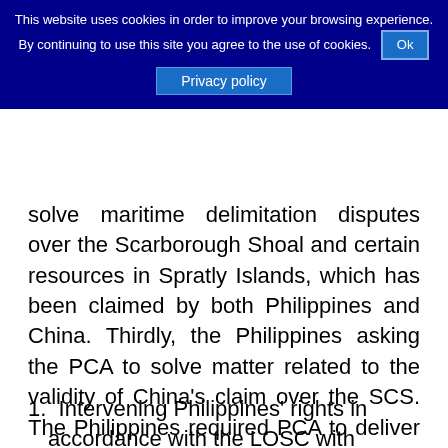This website uses cookies in order to improve your browsing experience. By continuing to use this site you agree to the use of cookies. Ok
Privacy policy
solve maritime delimitation disputes over the Scarborough Shoal and certain resources in Spratly Islands, which has been claimed by both Philippines and China. Thirdly, the Philippines asking the PCA to solve matter related to the validity of China's claim over the SCS. The Philippines required PCA to deliver award that China has conducted wrong doing upon their actions, as follows:
Intervening Philippines' rights in accordance with the LOSC with regard to fishing, navigation and other natural resources